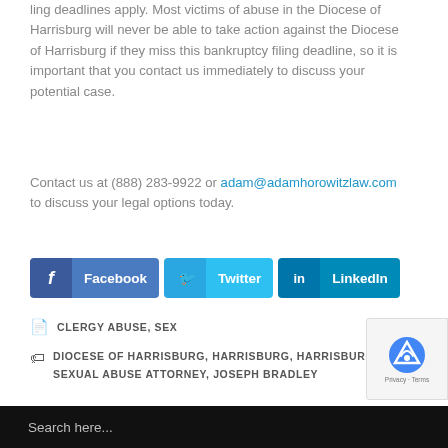ling deadlines apply. Most victims of abuse in the Diocese of Harrisburg will never be able to take action against the Diocese of Harrisburg if they miss this bankruptcy filing deadline, so it is important that you contact us immediately to discuss your potential case.
Contact us at (888) 283-9922 or adam@adamhorowitzlaw.com to discuss your legal options today.
[Figure (other): Social sharing buttons for Facebook, Twitter, and LinkedIn]
CLERGY ABUSE, SEX
DIOCESE OF HARRISBURG, HARRISBURG, HARRISBURG SEXUAL ABUSE ATTORNEY, JOSEPH BRADLEY
Search here...